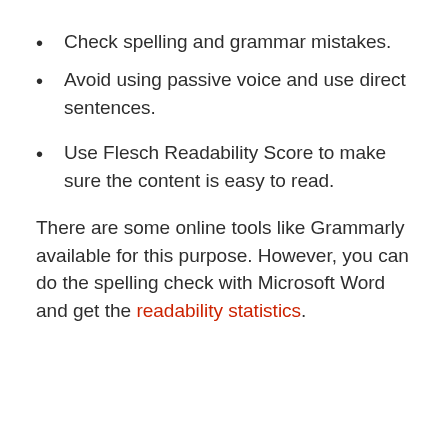Check spelling and grammar mistakes.
Avoid using passive voice and use direct sentences.
Use Flesch Readability Score to make sure the content is easy to read.
There are some online tools like Grammarly available for this purpose. However, you can do the spelling check with Microsoft Word and get the readability statistics.